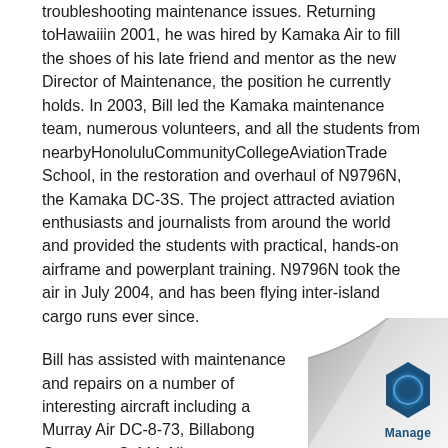troubleshooting maintenance issues. Returning toHawaiiin 2001, he was hired by Kamaka Air to fill the shoes of his late friend and mentor as the new Director of Maintenance, the position he currently holds. In 2003, Bill led the Kamaka maintenance team, numerous volunteers, and all the students from nearbyHonoluluCommunityCollegeAviationTrade School, in the restoration and overhaul of N9796N, the Kamaka DC-3S. The project attracted aviation enthusiasts and journalists from around the world and provided the students with practical, hands-on airframe and powerplant training. N9796N took the air in July 2004, and has been flying inter-island cargo runs ever since.
Bill has assisted with maintenance and repairs on a number of interesting aircraft including a Murray Air DC-8-73, Billabong Grumman G-111 Albatross, Seven-Q-Seven Omega's Boeing 727, and the General Electric B74 engine testbed aircraft. In 2009, he was asked by
[Figure (illustration): Page curl corner fold effect in bottom-right corner with a hexagonal bolt/gear icon badge labeled 'Manage' in dark teal/navy color]